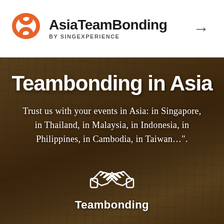[Figure (logo): AsiaTeamBonding by SingExperience logo with orange swirl icon]
Teambonding in Asia
Trust us with your events in Asia: in Singapore, in Thailand, in Malaysia, in Indonesia, in Philippines, in Cambodia, in Taiwan…".
[Figure (illustration): White handshake icon on dark background]
Teambonding